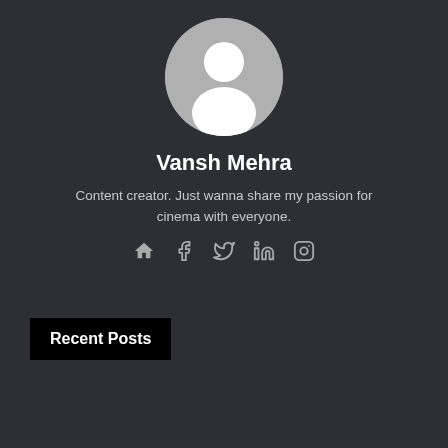[Figure (illustration): Circular avatar placeholder with grey background showing a generic white silhouette of a person (head and shoulders)]
Vansh Mehra
Content creator. Just wanna share my passion for cinema with everyone.
[Figure (infographic): Row of 5 social media icons: home, Facebook, Twitter, LinkedIn, Instagram — all in grey]
Recent Posts